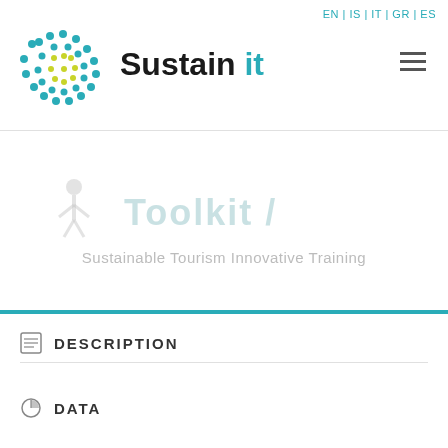EN | IS | IT | GR | ES
[Figure (logo): Sustain it logo with dot-pattern graphic and teal 'it' text]
[Figure (other): Toolkit / Sustainable Tourism Innovative Training watermark banner]
DESCRIPTION
DATA